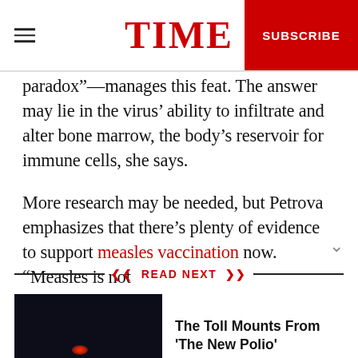TIME | SUBSCRIBE
paradox”—manages this feat. The answer may lie in the virus’ ability to infiltrate and alter bone marrow, the body’s reservoir for immune cells, she says.
More research may be needed, but Petrova emphasizes that there’s plenty of evidence to support measles vaccination now. “Measles is not
READ NEXT
[Figure (photo): Dark nighttime photo with a red light in the background]
The Toll Mounts From 'The New Polio'